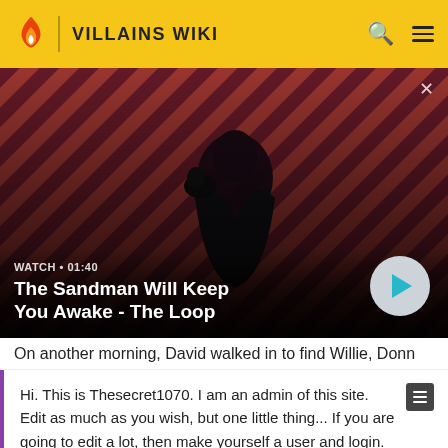VILLAINS WIKI
[Figure (screenshot): Video banner showing a dark figure with a raven on their shoulder against a red and dark diagonal striped background. Text overlay shows 'WATCH • 01:40' and title 'The Sandman Will Keep You Awake - The Loop' with a play button.]
On another morning, David walked in to find Willie, Donn
Hi. This is Thesecret1070. I am an admin of this site. Edit as much as you wish, but one little thing... If you are going to edit a lot, then make yourself a user and login. Other than that, enjoy Villains Wiki!!!